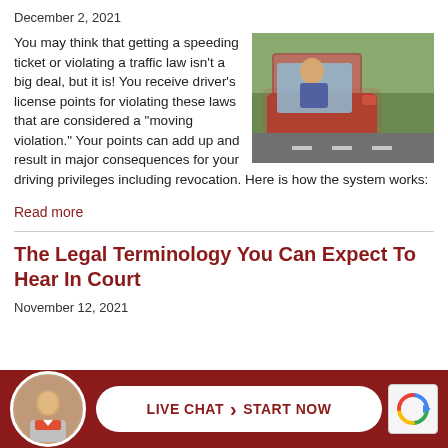December 2, 2021
You may think that getting a speeding ticket or violating a traffic law isn't a big deal, but it is! You receive driver's license points for violating these laws that are considered a “moving violation.” Your points can add up and result in major consequences for your driving privileges including revocation. Here is how the system works:
[Figure (photo): Person driving a red car, viewed from outside the driver's window, with a street visible in the background.]
Read more
The Legal Terminology You Can Expect To Hear In Court
November 12, 2021
[Figure (photo): Live chat bar with an avatar photo of a man in a suit, and a button reading LIVE CHAT > START NOW, plus a reCAPTCHA icon.]